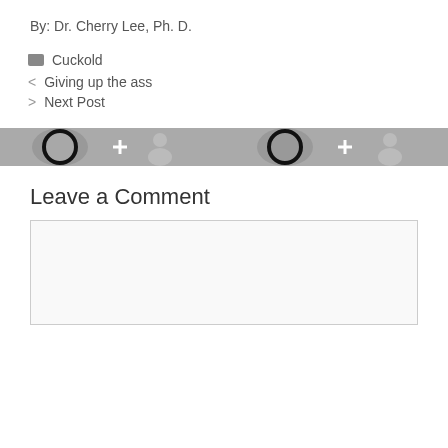By: Dr. Cherry Lee, Ph. D.
Cuckold
< Giving up the ass
> Next Post
[Figure (other): Social sharing bar with circular icons and plus buttons on gray background]
Leave a Comment
[Figure (other): Empty comment text input box with light gray background and border]